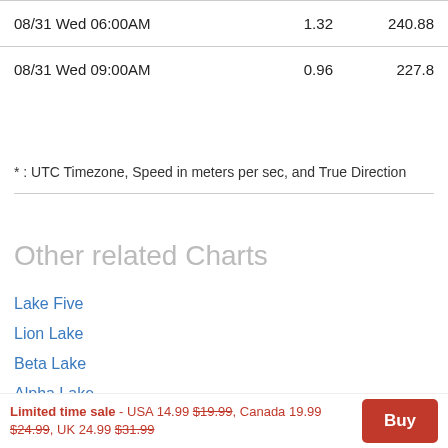|  |  |  |
| --- | --- | --- |
| 08/31 Wed 06:00AM | 1.32 | 240.88 |
| 08/31 Wed 09:00AM | 0.96 | 227.8 |
* : UTC Timezone, Speed in meters per sec, and True Direction
Other related Charts
Lake Five
Lion Lake
Beta Lake
Alpha Lake
Alpha Lake, Unnamed
Fawn Lake
Doris Lake #1
Doris Lake #2
Limited time sale - USA 14.99 $19.99, Canada 19.99 $24.99, UK 24.99 $31.99